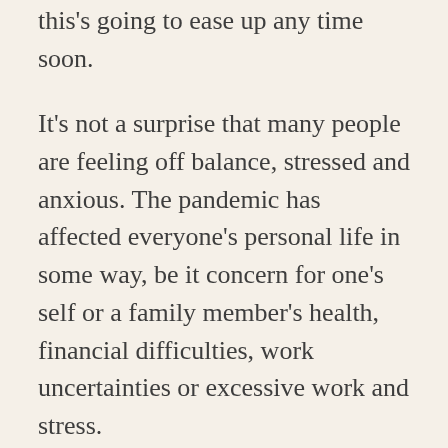this's going to ease up any time soon.
It's not a surprise that many people are feeling off balance, stressed and anxious. The pandemic has affected everyone's personal life in some way, be it concern for one's self or a family member's health, financial difficulties, work uncertainties or excessive work and stress.
A lot of my work is supporting people through tough times –